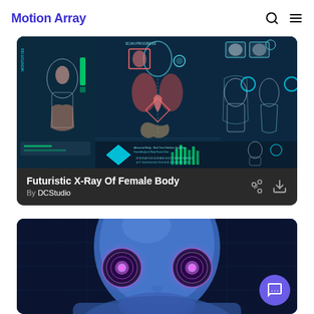Motion Array
[Figure (screenshot): Futuristic X-Ray Of Female Body medical visualization with multiple panels showing skeletal and organ views on dark teal background]
Futuristic X-Ray Of Female Body
By DCStudio
[Figure (illustration): 3D blue humanoid figure face closeup with glowing pink/purple eyes on dark blue grid background]